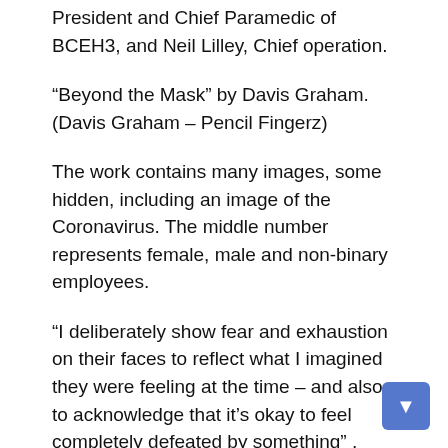President and Chief Paramedic of BCEH3, and Neil Lilley, Chief operation.
“Beyond the Mask” by Davis Graham. (Davis Graham – Pencil Fingerz)
The work contains many images, some hidden, including an image of the Coronavirus. The middle number represents female, male and non-binary employees.
“I deliberately show fear and exhaustion on their faces to reflect what I imagined they were feeling at the time – and also to acknowledge that it’s okay to feel completely defeated by something” , said Graham. “It’s an attempt to try to understand how they felt at the height of the